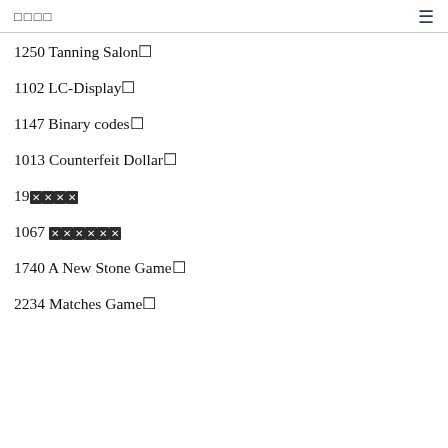□□□□  ≡
1250 Tanning Salon□
1102 LC-Display□
1147 Binary codes□
1013 Counterfeit Dollar□
19 [blocked x4]
1067 [blocked x6]
1740 A New Stone Game□
2234 Matches Game□